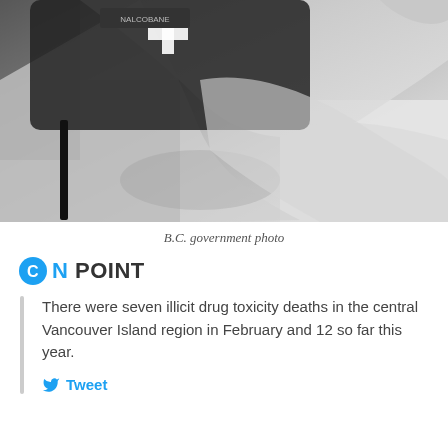[Figure (photo): Black and white photograph of a person's arm/hand holding what appears to be a first aid kit or medical case with a cross symbol on it, resting on their lap. The image is taken outdoors.]
B.C. government photo
ON POINT
There were seven illicit drug toxicity deaths in the central Vancouver Island region in February and 12 so far this year.
Tweet